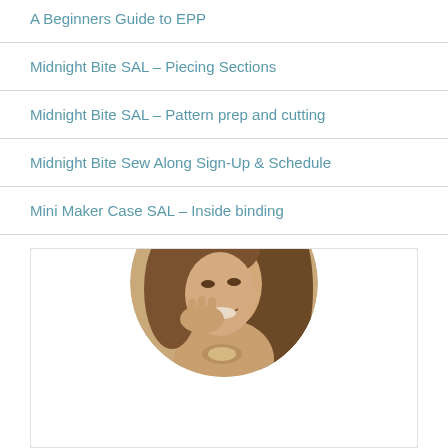A Beginners Guide to EPP
Midnight Bite SAL – Piecing Sections
Midnight Bite SAL – Pattern prep and cutting
Midnight Bite Sew Along Sign-Up & Schedule
Mini Maker Case SAL – Inside binding
[Figure (photo): Circular sepia-toned portrait photo of a smiling woman with long hair, resting her chin on her hand, wearing a necklace, set against a white rectangular background with a light border.]